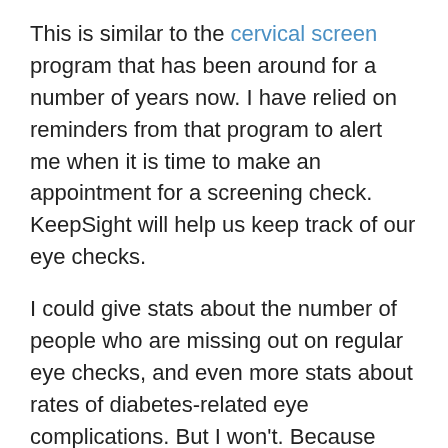This is similar to the cervical screen program that has been around for a number of years now. I have relied on reminders from that program to alert me when it is time to make an appointment for a screening check. KeepSight will help us keep track of our eye checks.
I could give stats about the number of people who are missing out on regular eye checks, and even more stats about rates of diabetes-related eye complications. But I won't. Because that is not what is getting me excited about this program.
I'm excited because this is one of those simple ideas that goes towards making our lives with diabetes easier. And, quite frankly, there's not enough of that happening!
Click on the link below; it takes literally two minutes to